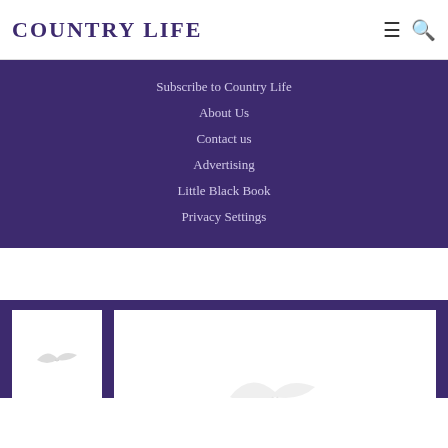COUNTRY LIFE
Subscribe to Country Life
About Us
Contact us
Advertising
Little Black Book
Privacy Settings
[Figure (logo): Country Life magazine logo placeholder card - small white card with peacock silhouette]
[Figure (logo): Country Life magazine large white card with peacock silhouette]